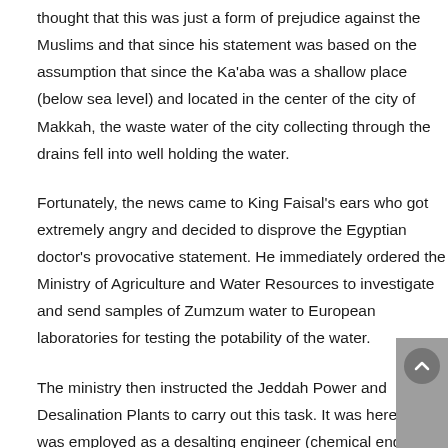thought that this was just a form of prejudice against the Muslims and that since his statement was based on the assumption that since the Ka'aba was a shallow place (below sea level) and located in the center of the city of Makkah, the waste water of the city collecting through the drains fell into well holding the water.
Fortunately, the news came to King Faisal's ears who got extremely angry and decided to disprove the Egyptian doctor's provocative statement. He immediately ordered the Ministry of Agriculture and Water Resources to investigate and send samples of Zumzum water to European laboratories for testing the potability of the water.
The ministry then instructed the Jeddah Power and Desalination Plants to carry out this task. It was here that I was employed as a desalting engineer (chemical engineer to produce drinking water from sea water). I was chosen to carry out this assignment. At